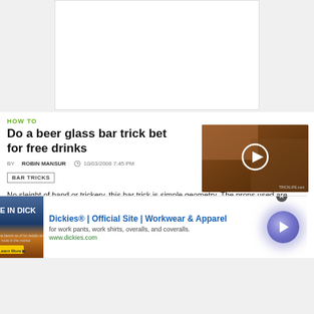[Figure (other): White rectangle advertisement banner placeholder at top of page]
HOW TO
Do a beer glass bar trick bet for free drinks
[Figure (screenshot): Video thumbnail showing a bar scene with a play button overlay and TRICKLIFE.com branding]
BY ROBIN MANSUR  10/03/2008 7:45 PM
BAR TRICKS
No sleight of hand or trickery, this bar trick is simple geometry. The props used are found around the bar, a beer glass, ashtrays, whatever. Watch this video magic tutorial and learn how to do a beer glass bet bar trick. Follow along and start
[Figure (other): Advertisement banner for Dickies workwear with image, text, and arrow button]